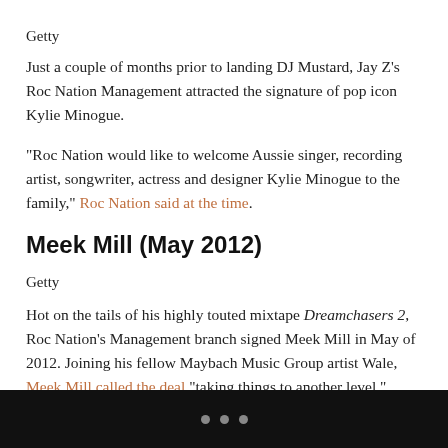Getty
Just a couple of months prior to landing DJ Mustard, Jay Z's Roc Nation Management attracted the signature of pop icon Kylie Minogue.
“Roc Nation would like to welcome Aussie singer, recording artist, songwriter, actress and designer Kylie Minogue to the family,” Roc Nation said at the time.
Meek Mill (May 2012)
Getty
Hot on the tails of his highly touted mixtape Dreamchasers 2, Roc Nation’s Management branch signed Meek Mill in May of 2012. Joining his fellow Maybach Music Group artist Wale, Meek Mill called the deal “taking things to another level.”